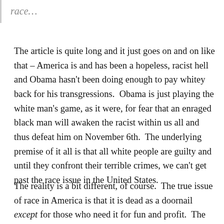race...
The article is quite long and it just goes on and on like that – America is and has been a hopeless, racist hell and Obama hasn't been doing enough to pay whitey back for his transgressions.  Obama is just playing the white man's game, as it were, for fear that an enraged black man will awaken the racist within us all and thus defeat him on November 6th.  The underlying premise of it all is that all white people are guilty and until they confront their terrible crimes, we can't get past the race issue in the United States.
The reality is a bit different, of course.  The true issue of race in America is that it is dead as a doornail except for those who need it for fun and profit.  The fact that Obama